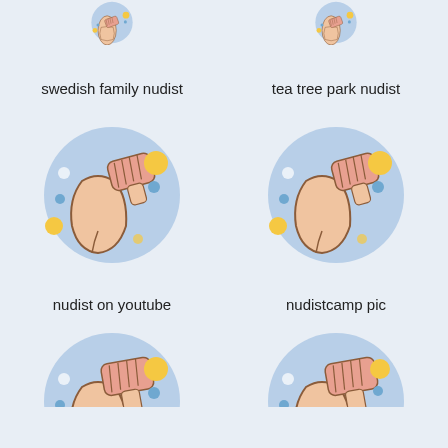[Figure (illustration): Top partial illustration of a hand washing/scrubbing a body part in a light blue circle with decorative dots (top-left, cropped)]
[Figure (illustration): Top partial illustration of a hand washing/scrubbing a body part in a light blue circle with decorative dots (top-right, cropped)]
swedish family nudist
tea tree park nudist
[Figure (illustration): Illustration of a hand scrubbing/washing a buttocks area in a light blue circle with yellow and blue decorative dots]
[Figure (illustration): Illustration of a hand scrubbing/washing a buttocks area in a light blue circle with yellow and blue decorative dots]
nudist on youtube
nudistcamp pic
[Figure (illustration): Bottom partial illustration of a hand washing/scrubbing a body part in a light blue circle with yellow and blue decorative dots (cropped at bottom)]
[Figure (illustration): Bottom partial illustration of a hand washing/scrubbing a body part in a light blue circle with yellow and blue decorative dots (cropped at bottom)]